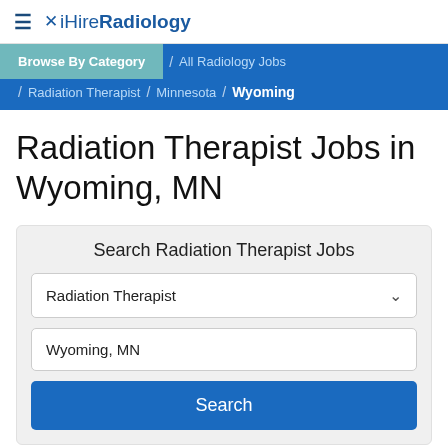≡ ✕ iHireRadiology
Browse By Category / All Radiology Jobs / Radiation Therapist / Minnesota / Wyoming
Radiation Therapist Jobs in Wyoming, MN
Search Radiation Therapist Jobs
Radiation Therapist
Wyoming, MN
Search